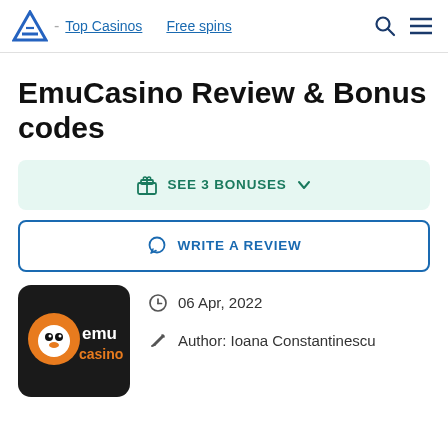Top Casinos   Free spins
EmuCasino Review & Bonus codes
SEE 3 BONUSES
WRITE A REVIEW
[Figure (logo): EmuCasino logo — orange emu character with 'emu casino' text on dark background]
06 Apr, 2022
Author: Ioana Constantinescu